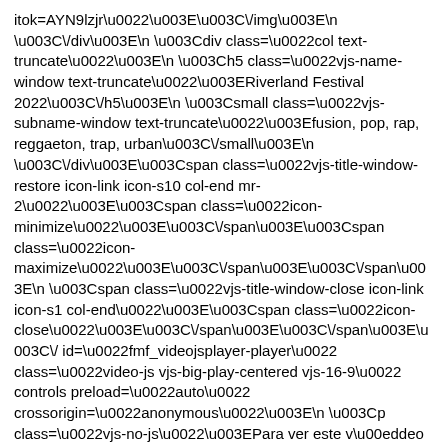itok=AYN9lzjr\u0022\u003E\u003C\/img\u003E\n \u003C\/div\u003E\n \u003Cdiv class=\u0022col text-truncate\u0022\u003E\n \u003Ch5 class=\u0022vjs-name-window text-truncate\u0022\u003ERiverland Festival 2022\u003C\/h5\u003E\n \u003Csmall class=\u0022vjs-subname-window text-truncate\u0022\u003Efusion, pop, rap, reggaeton, trap, urban\u003C\/small\u003E\n \u003C\/div\u003E\u003Cspan class=\u0022vjs-title-window-restore icon-link icon-s10 col-end mr-2\u0022\u003E\u003Cspan class=\u0022icon-minimize\u0022\u003E\u003C\/span\u003E\u003Cspan class=\u0022icon-maximize\u0022\u003E\u003C\/span\u003E\u003C\/span\u003E\n \u003Cspan class=\u0022vjs-title-window-close icon-link icon-s1 col-end\u0022\u003E\u003Cspan class=\u0022icon-close\u0022\u003E\u003C\/span\u003E\u003C\/span\u003E\u003C\/div id=\u0022fmf_videojsplayer-player\u0022 class=\u0022video-js vjs-big-play-centered vjs-16-9\u0022 controls preload=\u0022auto\u0022 crossorigin=\u0022anonymous\u0022\u003E\n \u003Cp class=\u0022vjs-no-js\u0022\u003EPara ver este v\u00eddeo activa JavaScript\u003C\/p\u003E\n \u003C\/video\u003E\n \u003Col class=\u0022vjs-playlist\u0022\u003E\u003C\/ol\u003E\n \u003C\/div\u003E","settings":null},
{"command":"remove","selector":".style-videoplayer"},
{"command":"addClass","data":"\u003C\/body\u003E\u0022\u003E\u003C\/body\u003E